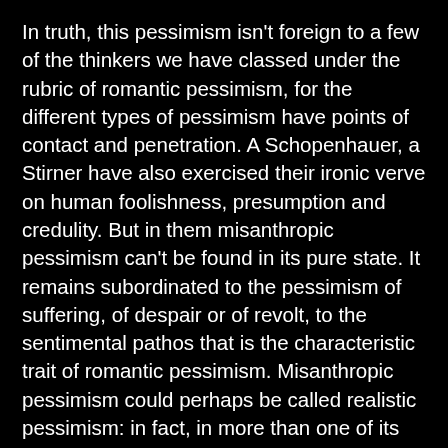In truth, this pessimism isn't foreign to a few of the thinkers we have classed under the rubric of romantic pessimism, for the different types of pessimism have points of contact and penetration. A Schopenhauer, a Stirner have also exercised their ironic verve on human foolishness, presumption and credulity. But in them misanthropic pessimism can't be found in its pure state. It remains subordinated to the pessimism of suffering, of despair or of revolt, to the sentimental pathos that is the characteristic trait of romantic pessimism. Misanthropic pessimism could perhaps be called realistic pessimism: in fact, in more than one of its representatives (Stendhal, Flaubert) it proceeds from that spirit of exact, detailed and pitiless observation, from the concern for objectivity and impassivity that figure among the characteristic traits of the realist esthetic. Does misanthropic pessimism confirm the thesis according to which pessimism tends to engender individualism? This is not certain. Among the thinkers we just cited there are certainly some who neither conceived, nor practiced, nor recommended the attitude of voluntary isolation that is individualism. Though they had no illusions about men they did not flee their society. They didn't hold them at a disdainful distance. They